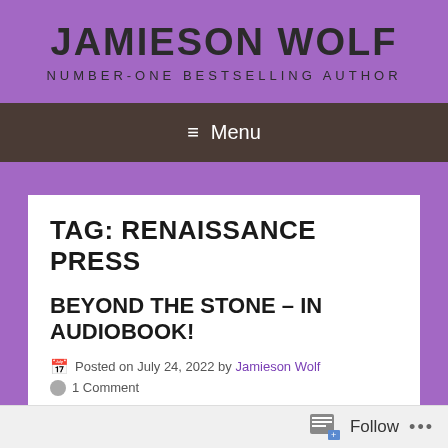JAMIESON WOLF
NUMBER-ONE BESTSELLING AUTHOR
≡ Menu
TAG: RENAISSANCE PRESS
BEYOND THE STONE – IN AUDIOBOOK!
Posted on July 24, 2022 by Jamieson Wolf
1 Comment
Follow ...